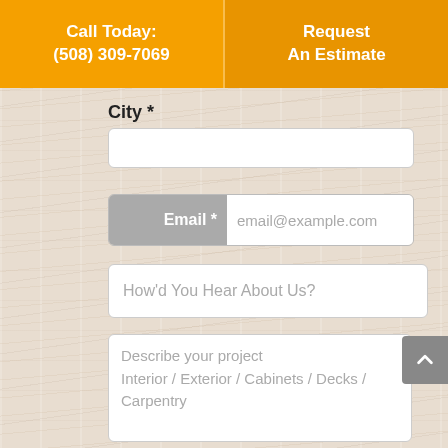Call Today: (508) 309-7069 | Request An Estimate
City *
Email * email@example.com
How'd You Hear About Us?
Describe your project Interior / Exterior / Cabinets / Decks / Carpentry